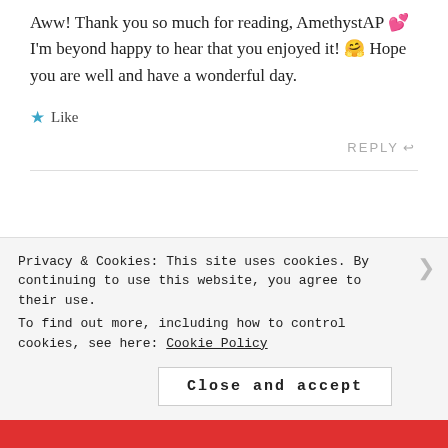Aww! Thank you so much for reading, AmethystAP 💕 I'm beyond happy to hear that you enjoyed it! 🤗 Hope you are well and have a wonderful day.
★ Like
REPLY ↩
Anand Bose says:
[Figure (photo): Avatar photo of Anand Bose showing a person in dark clothing]
Privacy & Cookies: This site uses cookies. By continuing to use this website, you agree to their use.
To find out more, including how to control cookies, see here: Cookie Policy
Close and accept